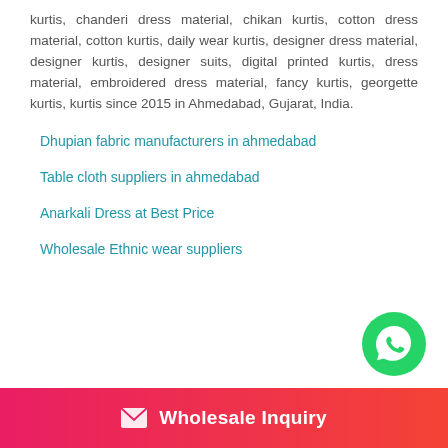kurtis, chanderi dress material, chikan kurtis, cotton dress material, cotton kurtis, daily wear kurtis, designer dress material, designer kurtis, designer suits, digital printed kurtis, dress material, embroidered dress material, fancy kurtis, georgette kurtis, kurtis since 2015 in Ahmedabad, Gujarat, India.
Dhupian fabric manufacturers in ahmedabad
Table cloth suppliers in ahmedabad
Anarkali Dress at Best Price
Wholesale Ethnic wear suppliers
[Figure (logo): WhatsApp logo in green circle]
Wholesale Inquiry